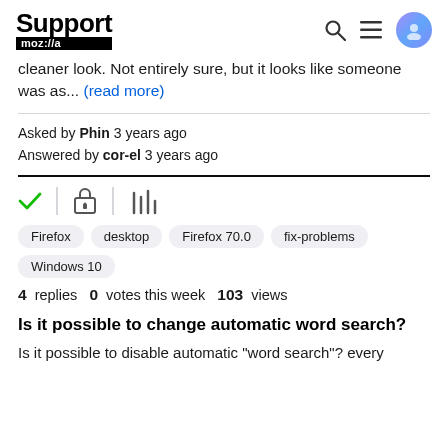Support moz://a
cleaner look. Not entirely sure, but it looks like someone was as... (read more)
Asked by Phin 3 years ago
Answered by cor-el 3 years ago
[Figure (illustration): Browser URL bar icons: green checkmark, lock icon, library/stack icon]
Firefox  desktop  Firefox 70.0  fix-problems  Windows 10
4 replies  0 votes this week  103 views
Is it possible to change automatic word search?
Is it possible to disable automatic "word search"? every